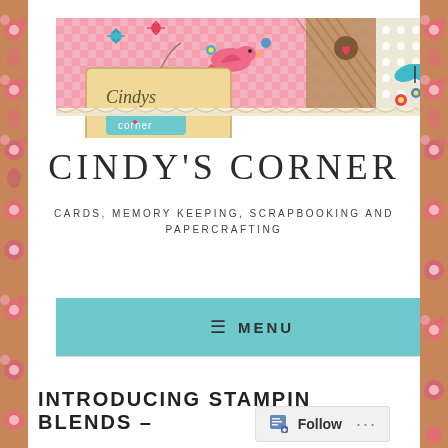[Figure (illustration): Cindy's Corner blog banner with pink gingham pattern, decorative bird, flowers, butterfly, button and lace designs. Features a tag-style logo reading 'Cindys Corner'.]
CINDY'S CORNER
CARDS, MEMORY KEEPING, SCRAPBOOKING AND PAPERCRAFTING
≡  MENU
INTRODUCING STAMPIN BLENDS –
[Figure (screenshot): Follow button widget at bottom right with document icon and 'Follow' text and '...' menu]